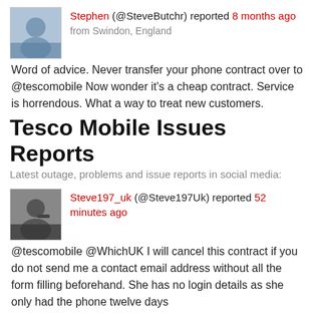Stephen (@SteveButchr) reported 8 months ago from Swindon, England
Word of advice. Never transfer your phone contract over to @tescomobile Now wonder it's a cheap contract. Service is horrendous. What a way to treat new customers.
Tesco Mobile Issues Reports
Latest outage, problems and issue reports in social media:
Steve197_uk (@Steve197Uk) reported 52 minutes ago
@tescomobile @WhichUK I will cancel this contract if you do not send me a contact email address without all the form filling beforehand. She has no login details as she only had the phone twelve days